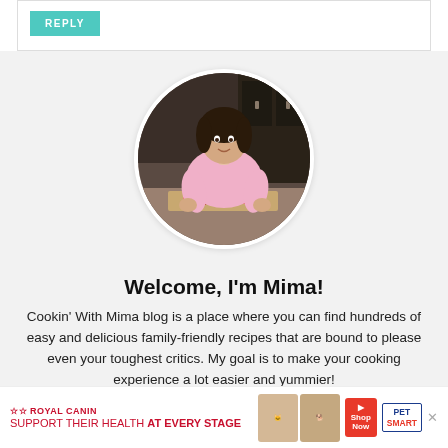REPLY
[Figure (photo): Circular profile photo of Mima, a woman in a pink shirt standing in a kitchen behind a cutting board with vegetables.]
Welcome, I'm Mima!
Cookin' With Mima blog is a place where you can find hundreds of easy and delicious family-friendly recipes that are bound to please even your toughest critics. My goal is to make your cooking experience a lot easier and yummier!
[Figure (infographic): Royal Canin advertisement banner: 'Support their health at every stage' with product images and PetSmart logo.]